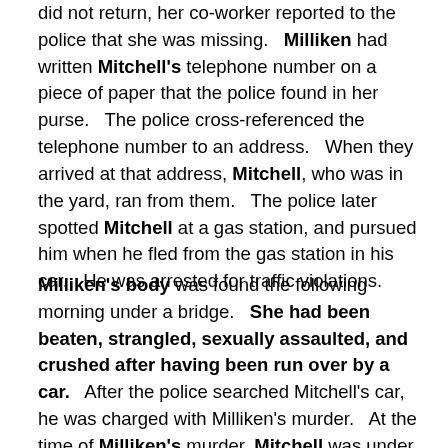did not return, her co-worker reported to the police that she was missing. Milliken had written Mitchell's telephone number on a piece of paper that the police found in her purse. The police cross-referenced the telephone number to an address. When they arrived at that address, Mitchell, who was in the yard, ran from them. The police later spotted Mitchell at a gas station, and pursued him when he fled from the gas station in his car. He was arrested for traffic violations.

Milliken's body was found the following morning under a bridge. She had been beaten, strangled, sexually assaulted, and crushed after having been run over by a car. After the police searched Mitchell's car, he was charged with Milliken's murder. At the time of Milliken's murder, Mitchell was under a sentence of life imprisonment for a previous murder, and had been on